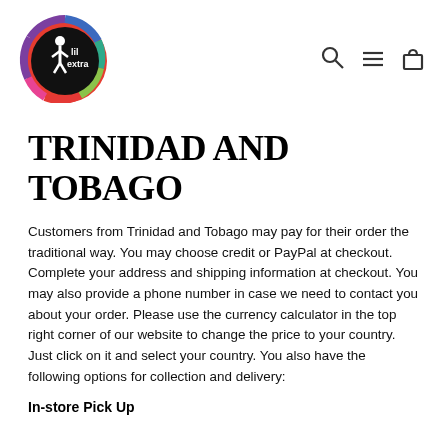[Figure (logo): Lil Extra logo: colorful circular logo with a person figure silhouette and text 'lil extra' on black background]
[Figure (other): Navigation icons: search magnifying glass, hamburger menu lines, and shopping bag]
TRINIDAD AND TOBAGO
Customers from Trinidad and Tobago may pay for their order the traditional way. You may choose credit or PayPal at checkout. Complete your address and shipping information at checkout. You may also provide a phone number in case we need to contact you about your order. Please use the currency calculator in the top right corner of our website to change the price to your country. Just click on it and select your country. You also have the following options for collection and delivery:
In-store Pick Up